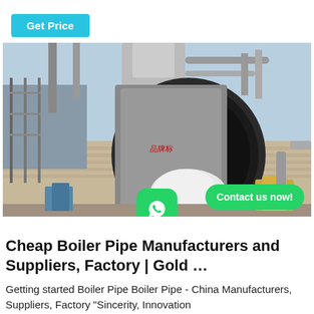Get Price
[Figure (photo): Industrial boiler pipe installed at an outdoor facility. A large cylindrical boiler with a circular front face and piping is shown. Construction scaffolding and equipment visible around it. WhatsApp icon and 'Contact us now!' button overlaid.]
Cheap Boiler Pipe Manufacturers and Suppliers, Factory | Gold …
Getting started Boiler Pipe Boiler Pipe - China Manufacturers, Suppliers, Factory "Sincerity, Innovation